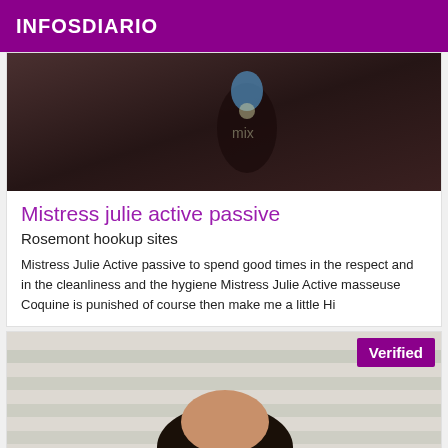INFOSDIARIO
[Figure (photo): Dark close-up photo showing a decorative bottle or object on a brown surface]
Mistress julie active passive
Rosemont hookup sites
Mistress Julie Active passive to spend good times in the respect and in the cleanliness and the hygiene Mistress Julie Active masseuse Coquine is punished of course then make me a little Hi
[Figure (photo): Photo of a woman with dark hair, with a 'Verified' badge in the upper right corner, striped background]